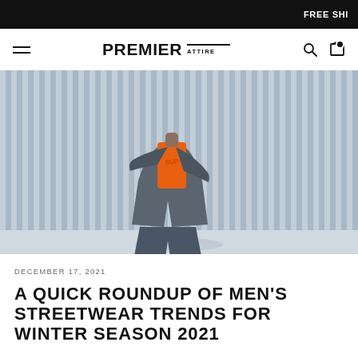FREE SHI
[Figure (logo): Premier Attire logo with hamburger menu, search and cart icons in navigation bar]
[Figure (photo): Man walking in streetwear outfit: orange hoodie under grey blazer, wide-leg grey trousers, in front of a corrugated metal wall]
DECEMBER 17, 2021
A QUICK ROUNDUP OF MEN'S STREETWEAR TRENDS FOR WINTER SEASON 2021